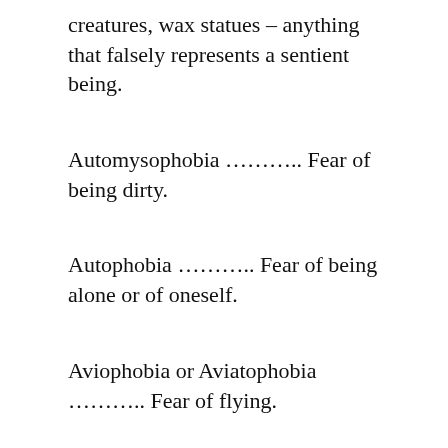creatures, wax statues – anything that falsely represents a sentient being.
Automysophobia ……….. Fear of being dirty.
Autophobia ……….. Fear of being alone or of oneself.
Aviophobia or Aviatophobia ……….. Fear of flying.